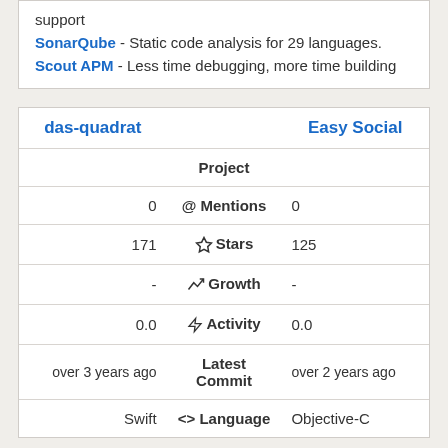support
SonarQube - Static code analysis for 29 languages.
Scout APM - Less time debugging, more time building
| das-quadrat | Project | Easy Social |
| --- | --- | --- |
| 0 | @ Mentions | 0 |
| 171 | ☆ Stars | 125 |
| - | ↗ Growth | - |
| 0.0 | ⚡ Activity | 0.0 |
| over 3 years ago | Latest Commit | over 2 years ago |
| Swift | <> Language | Objective-C |